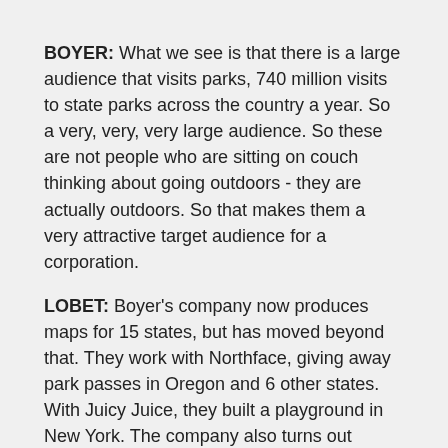BOYER: What we see is that there is a large audience that visits parks, 740 million visits to state parks across the country a year. So a very, very, very large audience. So these are not people who are sitting on couch thinking about going outdoors - they are actually outdoors. So that makes them a very attractive target audience for a corporation.
LOBET: Boyer's company now produces maps for 15 states, but has moved beyond that. They work with Northface, giving away park passes in Oregon and 6 other states. With Juicy Juice, they built a playground in New York. The company also turns out volunteers for workdays, like one at a major Orange County surf beach in April.